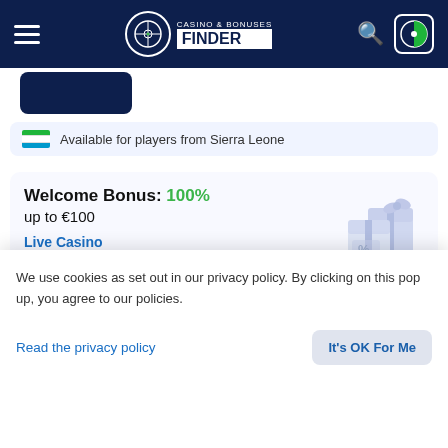Casino & Bonuses Finder
Available for players from Sierra Leone
Welcome Bonus: 100%
up to €100
Live Casino
| Min Dep | Wager |
| --- | --- |
| €120 | 40x |
MGA
License
We use cookies as set out in our privacy policy. By clicking on this pop up, you agree to our policies.
Read the privacy policy
It's OK For Me